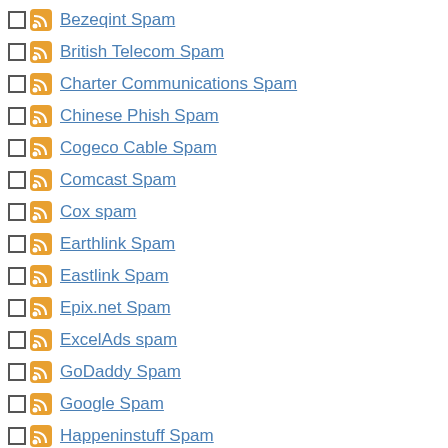Bezeqint Spam
British Telecom Spam
Charter Communications Spam
Chinese Phish Spam
Cogeco Cable Spam
Comcast Spam
Cox spam
Earthlink Spam
Eastlink Spam
Epix.net Spam
ExcelAds spam
GoDaddy Spam
Google Spam
Happeninstuff Spam
Hinet.net Spam
Hotmail / Outlook / Microsoft Spam
MSN Israeli Spam
Mega Mail Servers Spam
Mindspring Spam